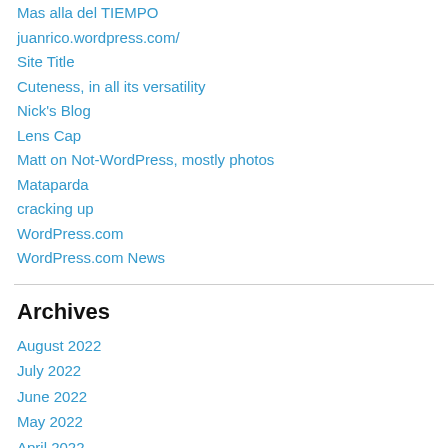Mas alla del TIEMPO
juanrico.wordpress.com/
Site Title
Cuteness, in all its versatility
Nick's Blog
Lens Cap
Matt on Not-WordPress, mostly photos
Mataparda
cracking up
WordPress.com
WordPress.com News
Archives
August 2022
July 2022
June 2022
May 2022
April 2022
March 2022